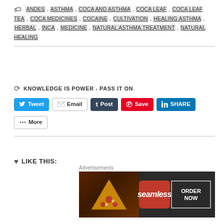ANDES, ASTHMA, COCA AND ASTHMA, COCA LEAF, COCA LEAF TEA, COCA MEDICINES, COCAINE, CULTIVATION, HEALING ASTHMA, HERBAL, INCA, MEDICINE, NATURAL ASTHMA TREATMENT, NATURAL HEALING
KNOWLEDGE IS POWER - PASS IT ON
Tweet | Email | Post | Save | SHARE | More
LIKE THIS:
LOADING...
RELATED
If the Drug Cartel Overlords Were Really Smart
[Figure (other): Seamless food delivery advertisement banner with pizza image, Seamless logo, and ORDER NOW button]